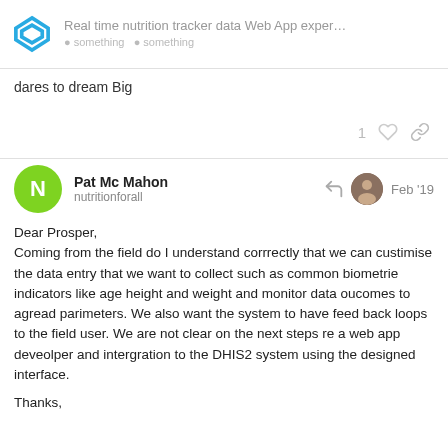Real time nutrition tracker data Web App exper...
dares to dream Big
1 ♡ 🔗
Pat Mc Mahon
nutritionforall
Feb '19
Dear Prosper,
Coming from the field do I understand corrrectly that we can custimise the data entry that we want to collect such as common biometrie indicators like age height and weight and monitor data oucomes to agread parimeters. We also want the system to have feed back loops to the field user. We are not clear on the next steps re a web app deveolper and intergration to the DHIS2 system using the designed interface.

Thanks,